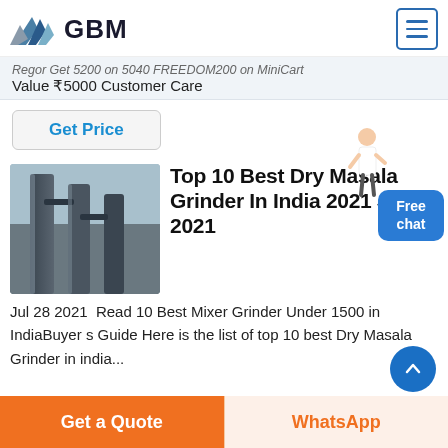GBM
Regor Get 5200 on 5040 FREEDOM200 on MiniCart Value ₹5000 Customer Care
Get Price
Top 10 Best Dry Masala Grinder In India 2021 July 2021
Jul 28 2021  Read 10 Best Mixer Grinder Under 1500 in IndiaBuyer s Guide Here is the list of top 10 best Dry Masala Grinder in india...
Get a Quote
WhatsApp